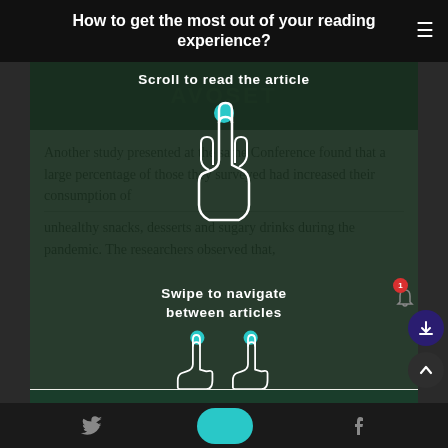How to get the most out of your reading experience?
[Figure (screenshot): App tutorial overlay showing scroll gesture with finger pointing down and teal arrow, with text 'Scroll to read the article']
Another study presented at the same Conference found that a large percentage of those they surveyed had increased their consumption of unhealthy snacks, desserts and sugary drinks during the pandemic. The researchers observed that,
[Figure (screenshot): App tutorial overlay showing swipe gesture with two hands pointing left and right and teal arrows, with text 'Swipe to navigate between articles']
[Figure (screenshot): Bottom navigation bar with Twitter bird icon, teal share button, and Facebook icon]